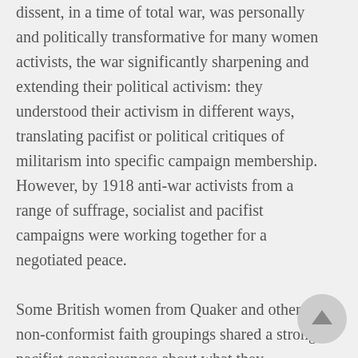dissent, in a time of total war, was personally and politically transformative for many women activists, the war significantly sharpening and extending their political activism: they understood their activism in different ways, translating pacifist or political critiques of militarism into specific campaign membership. However, by 1918 anti-war activists from a range of suffrage, socialist and pacifist campaigns were working together for a negotiated peace.

Some British women from Quaker and other non-conformist faith groupings shared a strong pacifist consciousness about what they perceived as the iniquity of war. The well-known pacifist Lillia